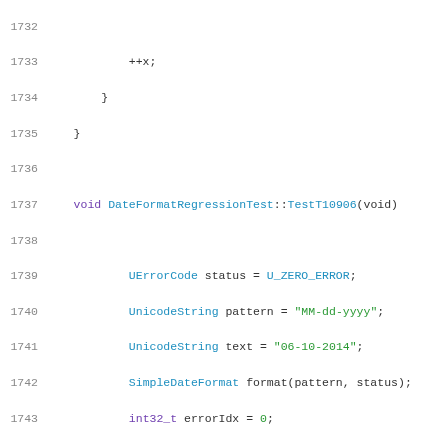[Figure (screenshot): Source code listing showing C++ code for DateFormatRegressionTest functions, lines 1732-1753, with syntax highlighting.]